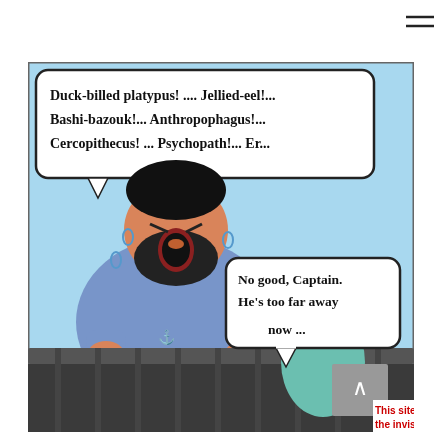[Figure (illustration): Tintin comic strip panel. Captain Haddock is leaning over a railing shouting insults: 'Duck-billed platypus! .... Jellied-eel!... Bashi-bazouk!... Anthropophagus!... Cercopithecus! ... Psychopath!... Er...' Tintin stands beside him responding: 'No good, Captain. He's too far away now...' A grey scroll-to-top button and partial red text 'This site k... the invisib...' are visible in the lower right corner.]